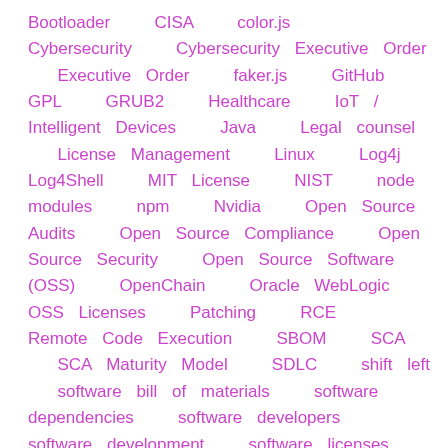Bootloader   CISA   color.js   Cybersecurity   Cybersecurity Executive Order   Executive Order   faker.js   GitHub   GPL   GRUB2   Healthcare   IoT / Intelligent Devices   Java   Legal counsel   License Management   Linux   Log4j   Log4Shell   MIT License   NIST   node modules   npm   Nvidia   Open Source Audits   Open Source Compliance   Open Source Security   Open Source Software (OSS)   OpenChain   Oracle WebLogic   OSS Licenses   Patching   RCE   Remote Code Execution   SBOM   SCA   SCA Maturity Model   SDLC   shift left   software bill of materials   software dependencies   software developers   software development   software licenses   software supply chain   software vulnerability   Spring4Shell   third-party software   US Government   vulnerabilities   Windows